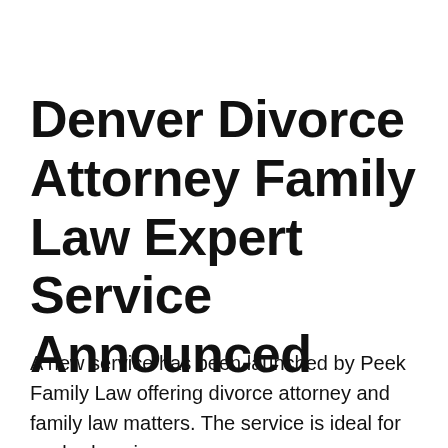Denver Divorce Attorney Family Law Expert Service Announced
A new service has been launched by Peek Family Law offering divorce attorney and family law matters. The service is ideal for anybody going